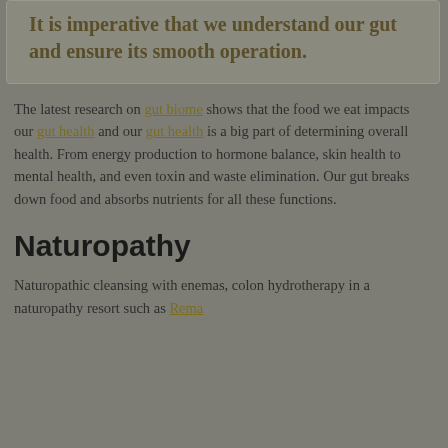It is imperative that we understand our gut and ensure its smooth operation.
The latest research on gut biome shows that the food we eat impacts our gut health and our gut health is a big part of determining overall health. From energy production to hormone balance, skin health to mental health, and even toxin and waste elimination. Our gut breaks down food and absorbs nutrients for all these functions.
Naturopathy
Naturopathic cleansing with enemas, colon hydrotherapy in a naturopathy resort such as Rema...